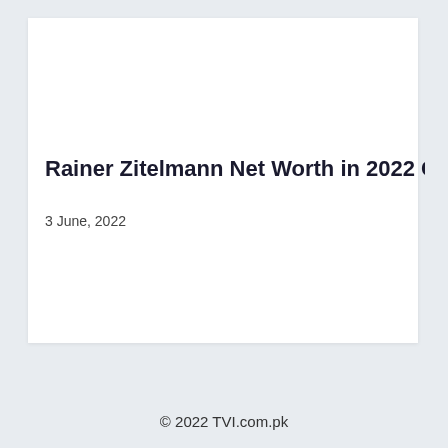Rainer Zitelmann Net Worth in 2022 Car
3 June, 2022
© 2022 TVI.com.pk